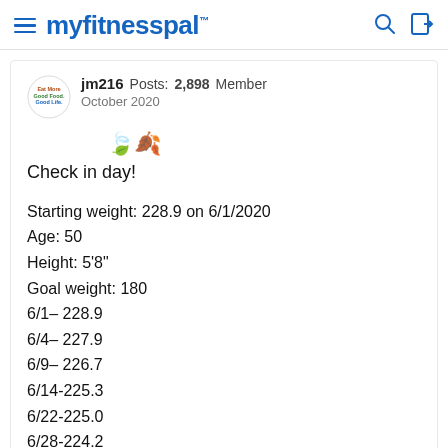myfitnesspal
jm216  Posts: 2,898  Member
October 2020
🍃🍂 Check in day!
Starting weight: 228.9 on 6/1/2020
Age: 50
Height: 5'8"
Goal weight: 180
6/1– 228.9
6/4– 227.9
6/9– 226.7
6/14-225.3
6/22-225.0
6/28-224.2
7/2—223.3